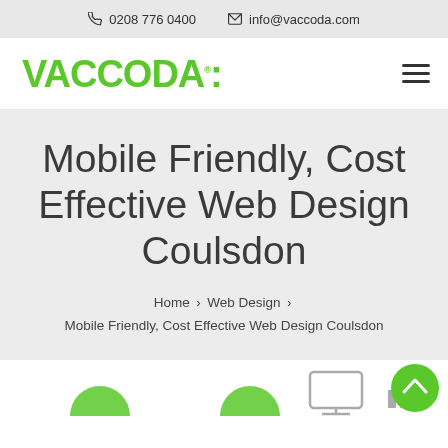📞 0208 776 0400   ✉ info@vaccoda.com
[Figure (logo): Vaccoda company logo in green with hamburger menu icon on the right]
Mobile Friendly, Cost Effective Web Design Coulsdon
Home > Web Design > Mobile Friendly, Cost Effective Web Design Coulsdon
[Figure (illustration): Bottom white section with partial green circular icons and a scroll-to-top button]